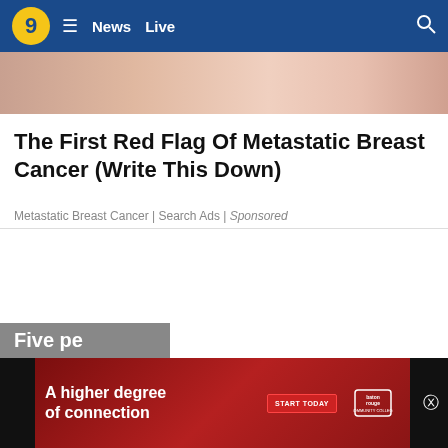News  Live
[Figure (photo): Partial image of a person, cropped at top of article]
The First Red Flag Of Metastatic Breast Cancer (Write This Down)
Metastatic Breast Cancer | Search Ads | Sponsored
[Figure (infographic): Advertisement banner: A higher degree of connection - Baton Rouge Community College, START TODAY button]
Five pe...